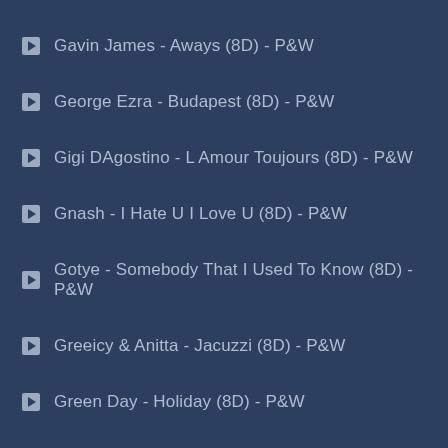Gavin James - Aways (8D) - P&W
George Ezra - Budapest (8D) - P&W
Gigi DAgostino - L Amour Toujours (8D) - P&W
Gnash - I Hate U I Love U (8D) - P&W
Gotye - Somebody That I Used To Know (8D) - P&W
Greeicy & Anitta - Jacuzzi (8D) - P&W
Green Day - Holiday (8D) - P&W